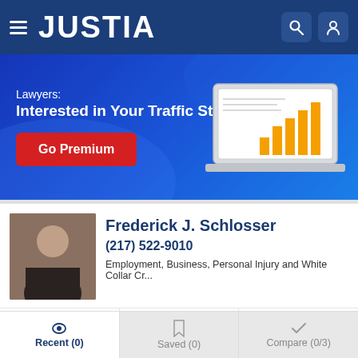JUSTIA
[Figure (screenshot): Justia promotional banner: Lawyers: Interested in Your Traffic Stats? Go Premium button with bar chart on laptop graphic]
Frederick J. Schlosser
(217) 522-9010
Employment, Business, Personal Injury and White Collar Cr...
website   profile   email
Compare   Save
Recent (0)   Saved (0)   Compare (0/3)